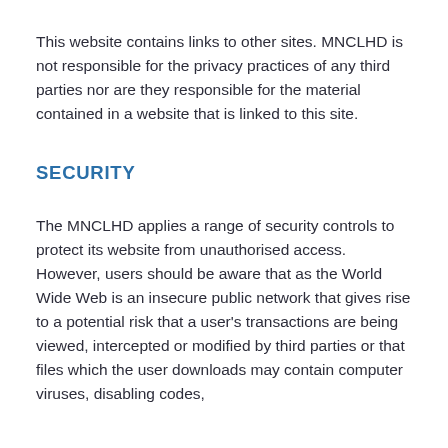This website contains links to other sites. MNCLHD is not responsible for the privacy practices of any third parties nor are they responsible for the material contained in a website that is linked to this site.
SECURITY
The MNCLHD applies a range of security controls to protect its website from unauthorised access. However, users should be aware that as the World Wide Web is an insecure public network that gives rise to a potential risk that a user's transactions are being viewed, intercepted or modified by third parties or that files which the user downloads may contain computer viruses, disabling codes,